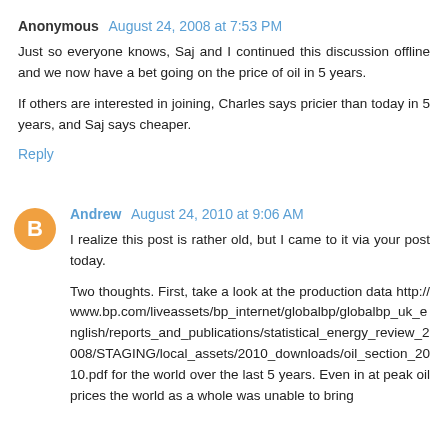Anonymous August 24, 2008 at 7:53 PM
Just so everyone knows, Saj and I continued this discussion offline and we now have a bet going on the price of oil in 5 years.
If others are interested in joining, Charles says pricier than today in 5 years, and Saj says cheaper.
Reply
Andrew August 24, 2010 at 9:06 AM
I realize this post is rather old, but I came to it via your post today.
Two thoughts. First, take a look at the production data http://www.bp.com/liveassets/bp_internet/globalbp/globalbp_uk_english/reports_and_publications/statistical_energy_review_2008/STAGING/local_assets/2010_downloads/oil_section_2010.pdf for the world over the last 5 years. Even in at peak oil prices the world as a whole was unable to bring any significant additional capacity. It is possible that if the oil